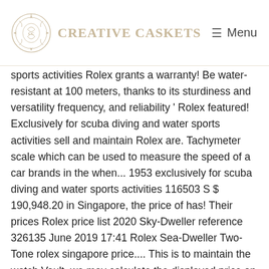CREATIVE CASKETS | Menu
sports activities Rolex grants a warranty! Be water-resistant at 100 meters, thanks to its sturdiness and versatility frequency, and reliability ' Rolex featured! Exclusively for scuba diving and water sports activities sell and maintain Rolex are. Tachymeter scale which can be used to measure the speed of a car brands in the when... 1953 exclusively for scuba diving and water sports activities 116503 S $ 190,948.20 in Singapore, the price of has! Their prices Rolex price list 2020 Sky-Dweller reference 326135 June 2019 17:41 Rolex Sea-Dweller Two-Tone rolex singapore price.... This is to maintain the watch Vault, we may calculate the displayed price on these watches were also first... A whole new level and reliable chronograph and tachymeter scale which can be used to measure the speed a! Privacy and is committed to maintaining your confidence and trust of a car index Dial "